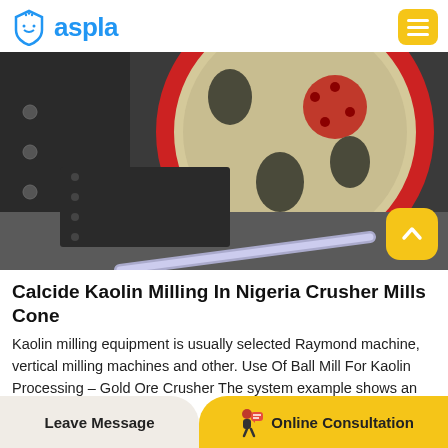aspla
[Figure (photo): Close-up photo of industrial milling/crusher machine showing a large circular disc/wheel component with red ring and bolt holes, metal housing, and a metal tube/pipe in the foreground. Dark industrial setting.]
Calcide Kaolin Milling In Nigeria Crusher Mills Cone
Kaolin milling equipment is usually selected Raymond machine, vertical milling machines and other. Use Of Ball Mill For Kaolin Processing – Gold Ore Crusher The system example shows an
Leave Message | Online Consultation